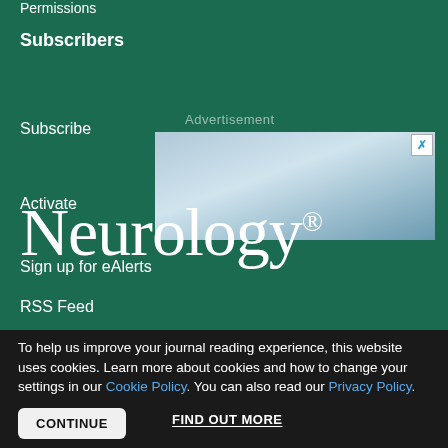Permissions
Subscribers
Subscribe
[Figure (other): Advertisement banner with cloud/sky imagery and close button (X)]
Activate
Sign up for eAlerts
RSS Feed
Neurology®
To help us improve your journal reading experience, this website uses cookies. Learn more about cookies and how to change your settings in our Cookie Policy. You can also read our Privacy Policy.
CONTINUE
FIND OUT MORE